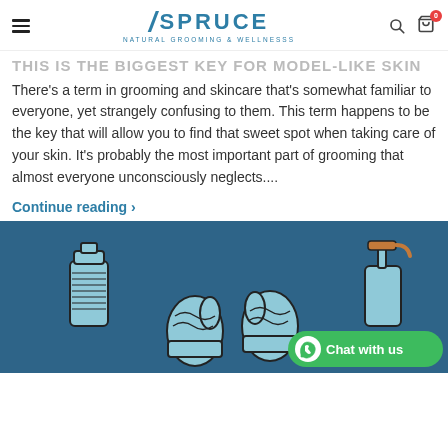Spruce Natural Grooming & Wellness - navigation header
THIS IS THE BIGGEST KEY FOR MODEL-LIKE SKIN
There’s a term in grooming and skincare that’s somewhat familiar to everyone, yet strangely confusing to them. This term happens to be the key that will allow you to find that sweet spot when taking care of your skin. It’s probably the most important part of grooming that almost everyone unconsciously neglects....
Continue reading ›
[Figure (illustration): Teal/blue background illustration showing grooming and wellness items including a water bottle, mittens/gloves, and a soap dispenser. Chat with us button visible at bottom right.]